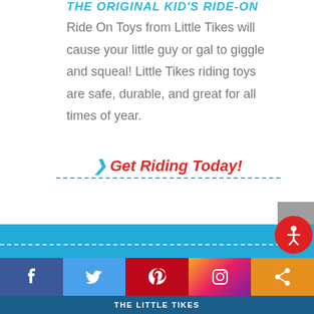THE ORIGINAL KID'S RIDE-ON
Ride On Toys from Little Tikes will cause your little guy or gal to giggle and squeal! Little Tikes riding toys are safe, durable, and great for all times of year.
> Get Riding Today!
[Figure (other): Back to top button - grey square with white upward chevron arrow]
[Figure (other): Blue banner with dashed white line and red circular accessibility icon showing person figure]
[Figure (other): Social media footer bar with Facebook, Twitter, Pinterest, Instagram, and Share icons]
THE LITTLE TIKES